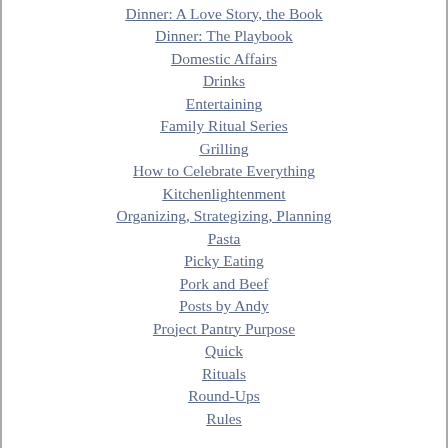Dinner: A Love Story, the Book
Dinner: The Playbook
Domestic Affairs
Drinks
Entertaining
Family Ritual Series
Grilling
How to Celebrate Everything
Kitchenlightenment
Organizing, Strategizing, Planning
Pasta
Picky Eating
Pork and Beef
Posts by Andy
Project Pantry Purpose
Quick
Rituals
Round-Ups
Rules